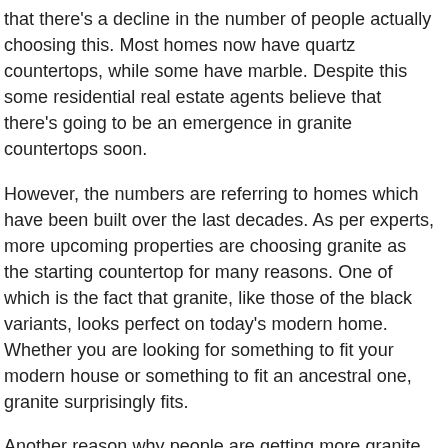that there's a decline in the number of people actually choosing this. Most homes now have quartz countertops, while some have marble. Despite this some residential real estate agents believe that there's going to be an emergence in granite countertops soon.
However, the numbers are referring to homes which have been built over the last decades. As per experts, more upcoming properties are choosing granite as the starting countertop for many reasons. One of which is the fact that granite, like those of the black variants, looks perfect on today's modern home. Whether you are looking for something to fit your modern house or something to fit an ancestral one,  granite surprisingly fits.
Another reason why people are getting more granite kitchen countertops is that like most  natural stone countertops, each slab is unique. This means that the granite countertop in your home will have no matching countertop anywhere else. This might seem like a small reason to buy a countertop but trust us, it's more than just about being unique.